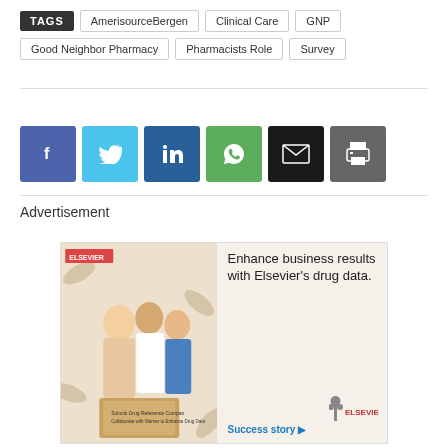TAGS   AmerisourceBergen   Clinical Care   GNP   Good Neighbor Pharmacy   Pharmacists Role   Survey
[Figure (infographic): Social share buttons: Facebook (blue), Twitter (light blue), LinkedIn (dark blue), WhatsApp (green), Email (black), Print (gray)]
Advertisement
[Figure (photo): Elsevier advertisement banner: Enhance business results with Elsevier's drug data. Success story arrow link. Shows medical professionals collaborating. Elsevier logo bottom right.]